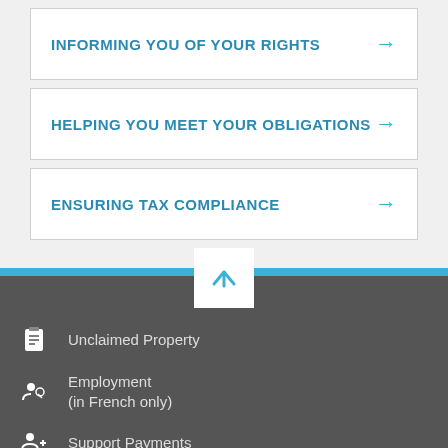INFORMING YOU OF YOUR RIGHTS
HELPING YOU MEET YOUR OBLIGATIONS
ENSURING TAX COMPLIANCE
Unclaimed Property
Employment (in French only)
Support Payments
Press Room